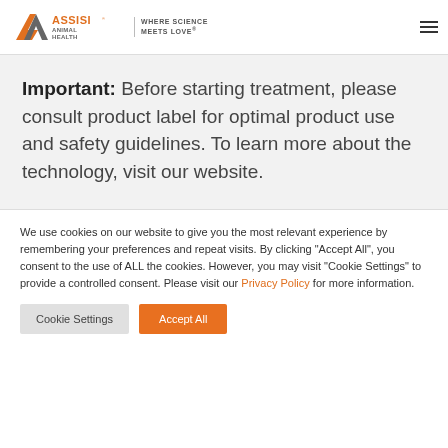ASSISI ANIMAL HEALTH | WHERE SCIENCE MEETS LOVE
Important: Before starting treatment, please consult product label for optimal product use and safety guidelines. To learn more about the technology, visit our website.
We use cookies on our website to give you the most relevant experience by remembering your preferences and repeat visits. By clicking "Accept All", you consent to the use of ALL the cookies. However, you may visit "Cookie Settings" to provide a controlled consent. Please visit our Privacy Policy for more information.
Cookie Settings | Accept All